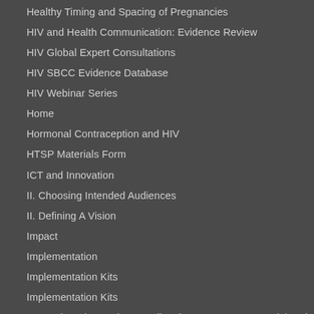Healthy Timing and Spacing of Pregnancies
HIV and Health Communication: Evidence Review
HIV Global Expert Consultations
HIV SBCC Evidence Database
HIV Webinar Series
Home
Hormonal Contraception and HIV
HTSP Materials Form
ICT and Innovation
II. Choosing Intended Audiences
II. Defining A Vision
Impact
Implementation
Implementation Kits
Implementation Kits
Innovation Blog Series: Leading the Way to Better Social and Behavior Change